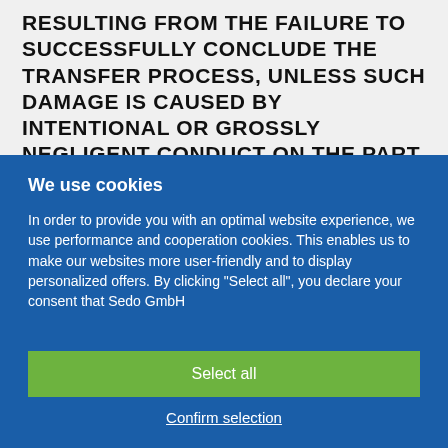RESULTING FROM THE FAILURE TO SUCCESSFULLY CONCLUDE THE TRANSFER PROCESS, UNLESS SUCH DAMAGE IS CAUSED BY INTENTIONAL OR GROSSLY NEGLIGENT CONDUCT ON THE PART OF SEDO, ITS LEGAL REPRESENTATIVES OR DESIGNATED AGENTS. THIS SHALL INCLUDE, WITHOUT LIMITATIONS, IN CASES WHERE ONE OF THE CONTRACTING PARTIES REFUSES TO
We use cookies
In order to provide you with an optimal website experience, we use performance and cooperation cookies. This enables us to make our websites more user-friendly and to display personalized offers. By clicking "Select all", you declare your consent that Sedo GmbH
Select all
Confirm selection